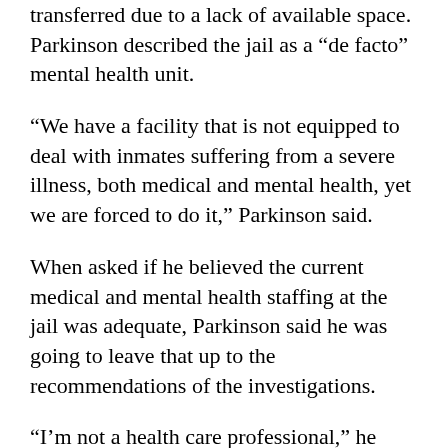transferred due to a lack of available space. Parkinson described the jail as a “de facto” mental health unit.
“We have a facility that is not equipped to deal with inmates suffering from a severe illness, both medical and mental health, yet we are forced to do it,” Parkinson said.
When asked if he believed the current medical and mental health staffing at the jail was adequate, Parkinson said he was going to leave that up to the recommendations of the investigations.
“I’m not a health care professional,” he said. “I’m not a mental health care professional.”
Even as investigations begin, some changes